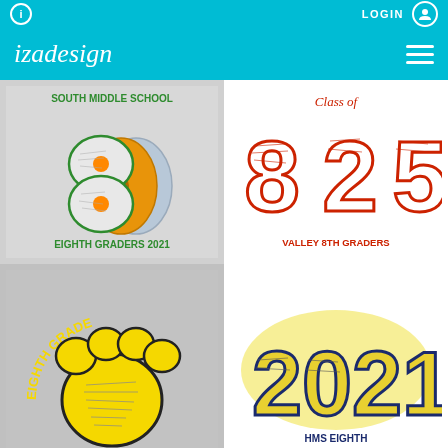izadesign — LOGIN
[Figure (illustration): South Middle School Eighth Graders 2021 T-shirt design with figure-8 shaped CDs in green, orange, and blue with student signatures]
[Figure (illustration): Class of 825 Valley 8th Graders T-shirt design with large athletic numbers filled with student signatures in red]
[Figure (illustration): Eighth Grade paw print T-shirt design in yellow and black with student signatures inside]
[Figure (illustration): 2021 HMS Eighth Grade T-shirt design with large block numbers in gold and navy with student signatures]